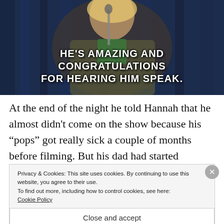[Figure (photo): Screenshot from a TV show or press conference: a blonde woman in a blazer sitting at a table with a microphone, in front of a dark blue curtain background. White bold meme-style text overlay reads: HE'S AMAZING AND CONGRATULATIONS FOR HEARING HIM SPEAK.]
At the end of the night he told Hannah that he almost didn't come on the show because his “pops” got really sick a couple of months before filming. But his dad had started watching the Bachelor with him and really
Privacy & Cookies: This site uses cookies. By continuing to use this website, you agree to their use.
To find out more, including how to control cookies, see here:
Cookie Policy
Close and accept